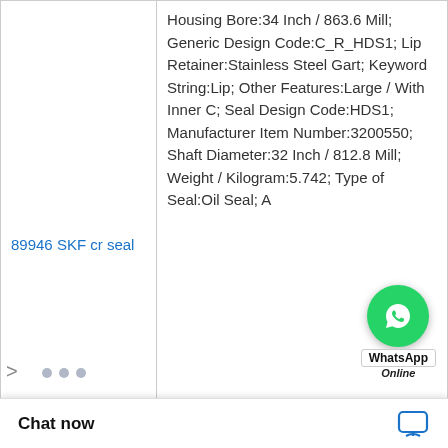| Product | Description |
| --- | --- |
| 89946 SKF cr seal | Housing Bore:34 Inch / 863.6 Mill; Generic Design Code:C_R_HDS1; Lip Retainer:Stainless Steel Gart; Keyword String:Lip; Other Features:Large / With Inner C; Seal Design Code:HDS1; Manufacturer Item Number:3200550; Shaft Diameter:32 Inch / 812.8 Mill; Weight / Kilogram:5.742; Type of Seal:Oil Seal; A |
| 590751 SKF cr seals | Harmonized Tariff Code:4... 3.50.20; Solid or Split Solid; Nominal Width:1 Inch / 25.4 Millim; Other Features:Large / With Inner C; Housing Bore:16 Inch / 406.4 Mill; UNSPSC:31411705; Actual Width:1 Inch / 25.4 Millim; Generic Design Code:C_R_HDS2; Case Construction:Steel; Keyword String:Lip; |
|  | Seals; Weight / Kil |